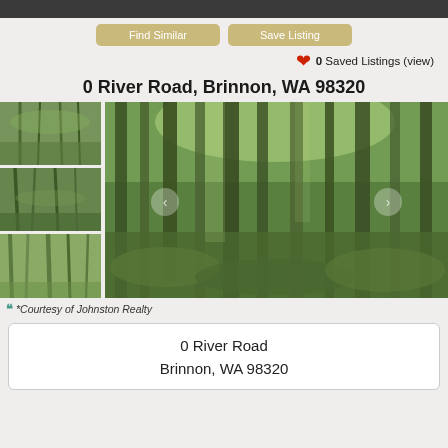[Figure (screenshot): Top navigation bar, dark gray]
Find Similar   Save Listing
0 Saved Listings (view)
0 River Road, Brinnon, WA 98320
[Figure (photo): Forest property photos: thumbnail strip on left showing three forest/tree images, large main photo on right showing lush green Pacific Northwest forest with ferns and tall mossy trees]
*Courtesy of Johnston Realty
0 River Road
Brinnon, WA 98320